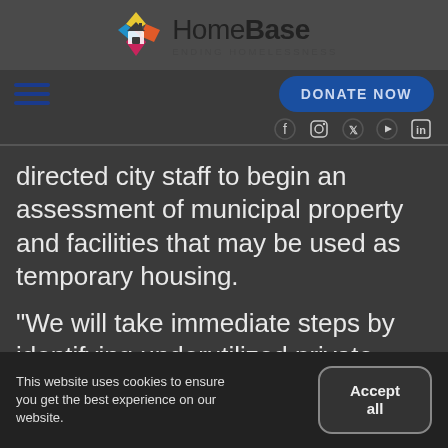[Figure (logo): HomeBase Ending Homelessness logo with colorful diamond/house icon]
[Figure (infographic): Navigation bar with hamburger menu icon and DONATE NOW button, social media icons (Facebook, Instagram, Twitter, YouTube, LinkedIn)]
directed city staff to begin an assessment of municipal property and facilities that may be used as temporary housing.
“We will take immediate steps by identifying underutilized private
This website uses cookies to ensure you get the best experience on our website.
Accept all